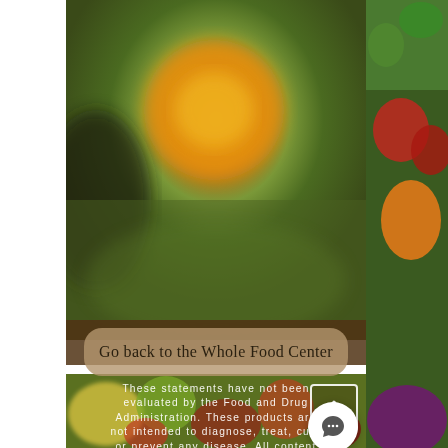[Figure (photo): Blurred close-up photo of food with orange/egg yolk center and green background, partially visible at top of page]
Go back to the Whole Food Center
[Figure (photo): Photo of mixed vegetables including corn, eggplant, potatoes, tomatoes and other produce forming the bottom background]
These statements have not been evaluated by the Food and Drug Administration. These products are not intended to diagnose, treat, cure or prevent any disease. All content found on joshboughton.com/rooted-nutrition.com, including text, images, audio, or other formats were created for informational purposes only. The
[Figure (photo): Colorful vegetables photo strip on right edge including green zucchini, apples, peppers, tomatoes, cabbage]